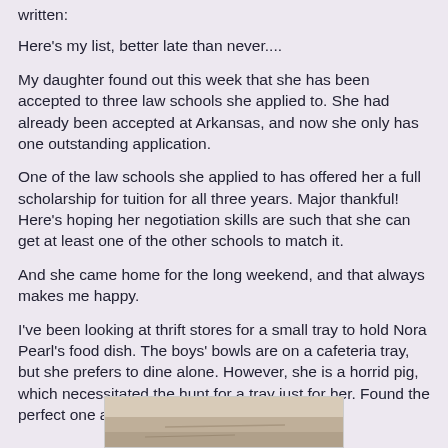written:
Here's my list, better late than never....
My daughter found out this week that she has been accepted to three law schools she applied to. She had already been accepted at Arkansas, and now she only has one outstanding application.
One of the law schools she applied to has offered her a full scholarship for tuition for all three years. Major thankful! Here's hoping her negotiation skills are such that she can get at least one of the other schools to match it.
And she came home for the long weekend, and that always makes me happy.
I've been looking at thrift stores for a small tray to hold Nora Pearl's food dish. The boys' bowls are on a cafeteria tray, but she prefers to dine alone. However, she is a horrid pig, which necessitated the hunt for a tray just for her. Found the perfect one at the Salvation Army thrift store:
[Figure (photo): Bottom portion of a photo, partially cut off, showing what appears to be a tray or dish item found at the Salvation Army thrift store.]